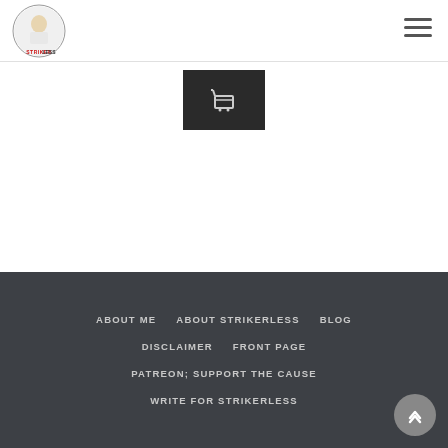[Figure (logo): Strikerless website logo - circular logo with cartoon character and text STRIKERLESS below]
[Figure (other): Hamburger menu icon (three horizontal lines) in top right corner]
[Figure (other): Dark gray/black button with a shopping cart icon in the center of the white content area]
ABOUT ME   ABOUT STRIKERLESS   BLOG   DISCLAIMER   FRONT PAGE   PATREON; SUPPORT THE CAUSE   WRITE FOR STRIKERLESS